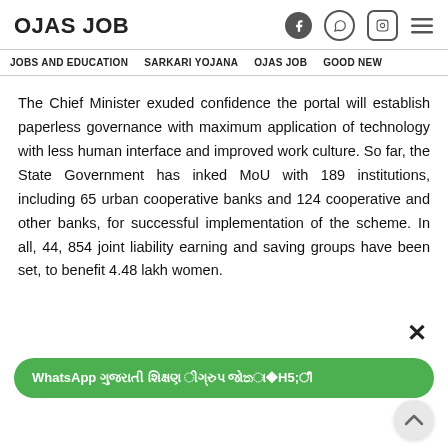OJAS JOB
JOBS AND EDUCATION   SARKARI YOJANA   OJAS JOB   GOOD NEW
The Chief Minister exuded confidence the portal will establish paperless governance with maximum application of technology with less human interface and improved work culture. So far, the State Government has inked MoU with 189 institutions, including 65 urban cooperative banks and 124 cooperative and other banks, for successful implementation of the scheme. In all, 44, 854 joint liability earning and saving groups have been set, to benefit 4.48 lakh women.
[Figure (screenshot): WhatsApp channel join banner in green with Gujarati text, and a scroll-up button]